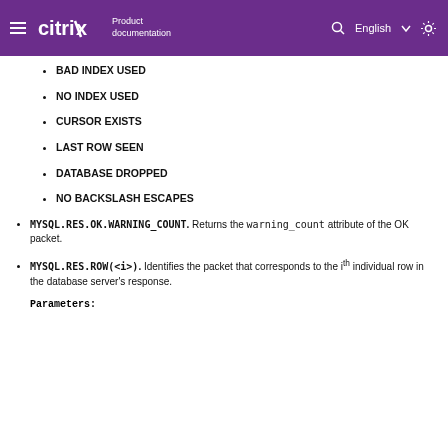citrix Product documentation | English
BAD INDEX USED
NO INDEX USED
CURSOR EXISTS
LAST ROW SEEN
DATABASE DROPPED
NO BACKSLASH ESCAPES
MYSQL.RES.OK.WARNING_COUNT. Returns the warning_count attribute of the OK packet.
MYSQL.RES.ROW(<i>). Identifies the packet that corresponds to the i<sup>th</sup> individual row in the database server's response.
Parameters: